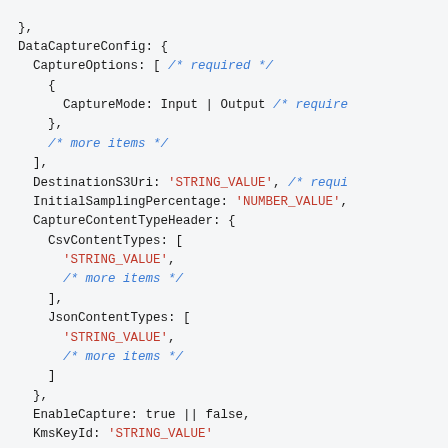Code snippet showing DataCaptureConfig structure with CaptureOptions, DestinationS3Uri, InitialSamplingPercentage, CaptureContentTypeHeader, EnableCapture, KmsKeyId, and Tags fields.